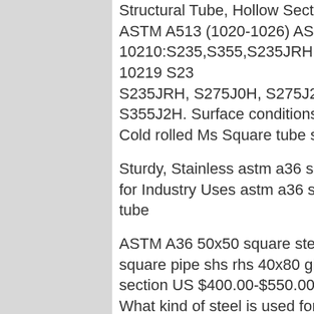Structural Tube, Hollow SectionASTM A500 Grade B, ASTM A513 (1020-1026) ASTM A36 (A36) EN 10210:S235,S355,S235JRH, S355J2H,S355NH EN 10219 S235, S235JRH, S275J0H, S275J2H, S355, S355J2H. Surface conditions Hot & Cold rolled Ms Square tube sizes
[Figure (other): 7X24 Online chat support advertisement with a woman wearing a headset smiling, with text 'Hello, may I help you?' and a yellow 'Get Latest Price' button.]
Sturdy, Stainless astm a36 square tube for Industry Uses astm a36 square tube
ASTM A36 50x50 square steel pipe weight galvanized square pipe shs rhs 40x80 gi rectangular square hollow section US $400.00-$550.00 / Ton 5.0 Tons (Min. Order) What kind of steel is used for Square tube?What kind of steel